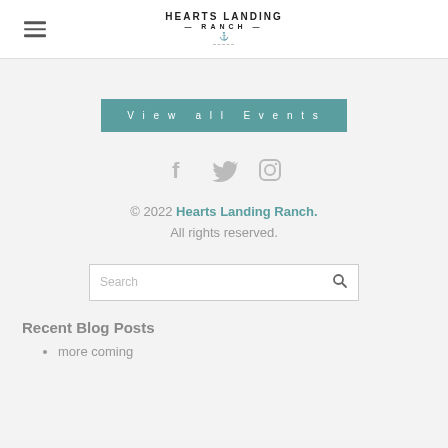Hearts Landing Ranch — site header with hamburger menu and logo
View all Events
[Figure (other): Social media icons: Facebook, Twitter, Instagram in gray]
© 2022 Hearts Landing Ranch. All rights reserved.
Search
Recent Blog Posts
more coming